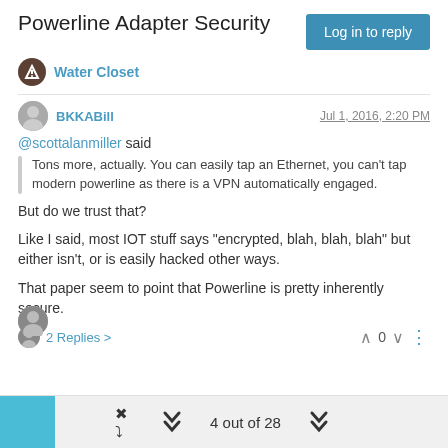Powerline Adapter Security
Water Closet
BKKABill	Jul 1, 2016, 2:20 PM
@scottalanmiller said
Tons more, actually. You can easily tap an Ethernet, you can't tap modern powerline as there is a VPN automatically engaged.
But do we trust that?
Like I said, most IOT stuff says "encrypted, blah, blah, blah" but either isn't, or is easily hacked other ways.
That paper seem to point that Powerline is pretty inherently secure.
2 Replies
4 out of 28